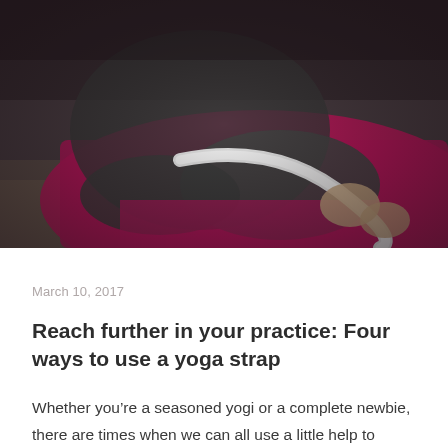[Figure (photo): A person sitting on a pink/magenta yoga mat holding a white yoga strap around their feet in a seated stretch position. The person is wearing dark grey leggings and the image is taken from above at an angle.]
March 10, 2017
Reach further in your practice: Four ways to use a yoga strap
Whether you’re a seasoned yogi or a complete newbie, there are times when we can all use a little help to reach further